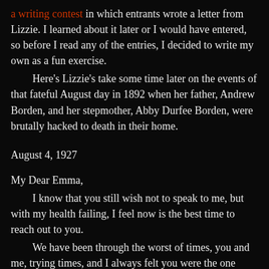a writing contest in which entrants wrote a letter from Lizzie. I learned about it later or I would have entered, so before I read any of the entries, I decided to write my own as a fun exercise.
Here's Lizzie's take some time later on the events of that fateful August day in 1892 when her father, Andrew Borden, and her stepmother, Abby Durfee Borden, were brutally hacked to death in their home.
August 4, 1927
My Dear Emma,
I know that you still wish not to speak to me, but with my health failing, I feel now is the best time to reach out to you.
We have been through the worst of times, you and me, trying times, and I always felt you were the one person who understood me best. You were always there to look out for me and stand up for me, for which I am forever grateful.
You were not wrong in your support, for as you are aware, I had no other choice for what I did. I tried my best that fateful August